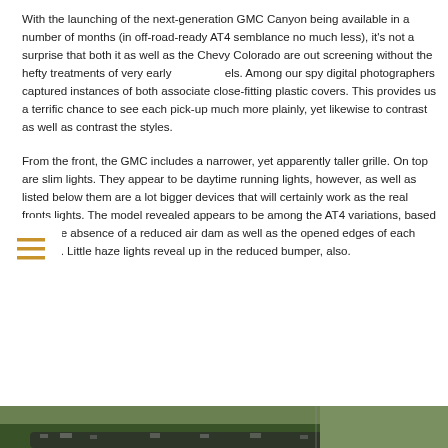With the launching of the next-generation GMC Canyon being available in a number of months (in off-road-ready AT4 semblance no much less), it's not a surprise that both it as well as the Chevy Colorado are out screening without the hefty treatments of very early els. Among our spy digital photographers captured instances of both associate close-fitting plastic covers. This provides us a terrific chance to see each pick-up much more plainly, yet likewise to contrast as well as contrast the styles.
From the front, the GMC includes a narrower, yet apparently taller grille. On top are slim lights. They appear to be daytime running lights, however, as well as listed below them are a lot bigger devices that will certainly work as the real fronts lights. The model revealed appears to be among the AT4 variations, based upon the absence of a reduced air dam as well as the opened edges of each bumper. Little haze lights reveal up in the reduced bumper, also.
[Figure (photo): Partial view of a vehicle (GMC Canyon) partially visible at the bottom of the page, with green foliage in the background]